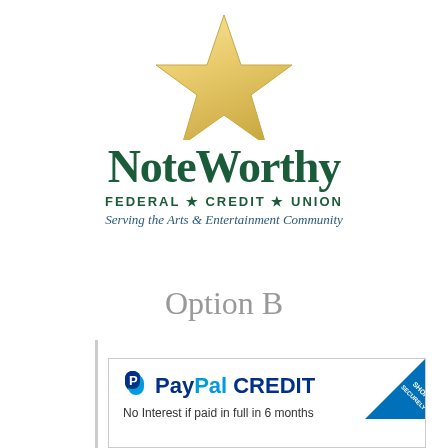[Figure (logo): NoteWorthy Federal Credit Union logo with gold star above text 'NoteWorthy FEDERAL * CREDIT * UNION' and tagline 'Serving the Arts & Entertainment Community']
Option B
[Figure (logo): PayPal CREDIT logo with 'SHOP SECURELY' badge in blue corner. Text: 'No Interest if paid in full in 6 months']